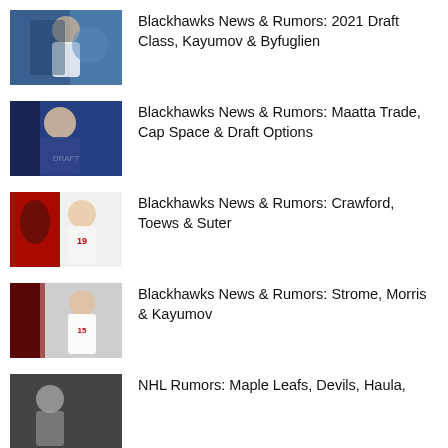Blackhawks News & Rumors: 2021 Draft Class, Kayumov & Byfuglien
Blackhawks News & Rumors: Maatta Trade, Cap Space & Draft Options
Blackhawks News & Rumors: Crawford, Toews & Suter
Blackhawks News & Rumors: Strome, Morris & Kayumov
NHL Rumors: Maple Leafs, Devils, Haula,